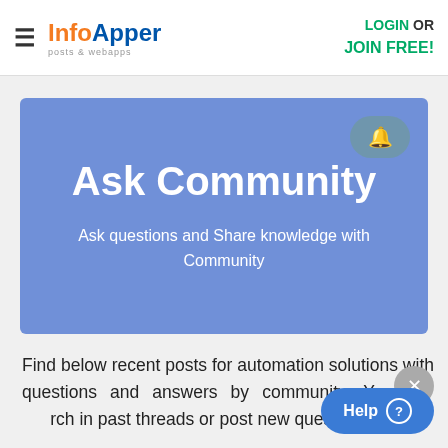InfoApper posts & webapps | LOGIN OR JOIN FREE!
[Figure (screenshot): Blue banner with bell icon, title 'Ask Community' and subtitle 'Ask questions and Share knowledge with Community']
Find below recent posts for automation solutions with questions and answers by community. You can search in past threads or post new questions your